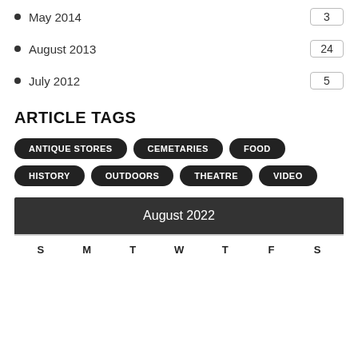May 2014  3
August 2013  24
July 2012  5
ARTICLE TAGS
ANTIQUE STORES
CEMETARIES
FOOD
HISTORY
OUTDOORS
THEATRE
VIDEO
August 2022
S  M  T  W  T  F  S